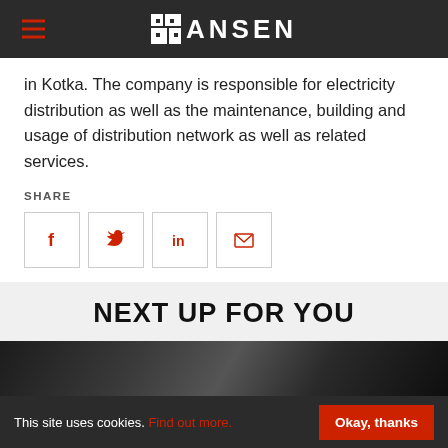HANSEN
in Kotka. The company is responsible for electricity distribution as well as the maintenance, building and usage of distribution network as well as related services.
SHARE
[Figure (other): Social share icons: Facebook, Twitter, LinkedIn, Email]
NEXT UP FOR YOU
[Figure (photo): Dark background image, partially visible]
This site uses cookies. Find out more. Okay, thanks